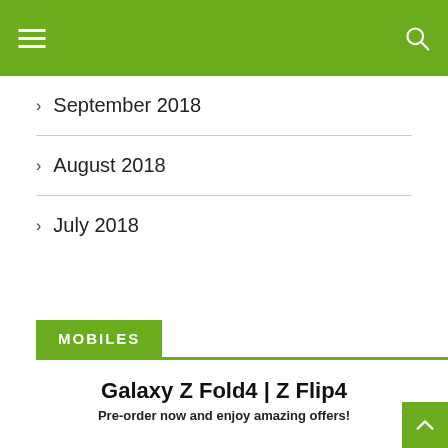Navigation bar with hamburger menu and search icon
September 2018
August 2018
July 2018
MOBILES
Galaxy Z Fold4 | Z Flip4
Pre-order now and enjoy amazing offers!